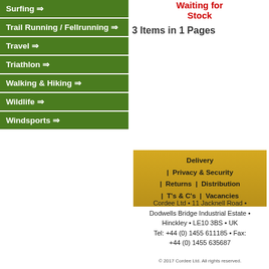Surfing ⇒
Trail Running / Fellrunning ⇒
Travel ⇒
Triathlon ⇒
Walking & Hiking ⇒
Wildlife ⇒
Windsports ⇒
Waiting for Stock
3 Items in 1 Pages
Delivery | Privacy & Security | Returns | Distribution | T's & C's | Vacancies
Cordee Ltd • 11 Jacknell Road • Dodwells Bridge Industrial Estate • Hinckley • LE10 3BS • UK Tel: +44 (0) 1455 611185 • Fax: +44 (0) 1455 635687
© 2017 Cordee Ltd. All rights reserved.